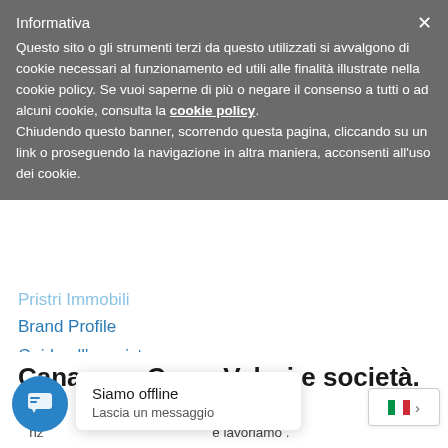Informativa
Questo sito o gli strumenti terzi da questo utilizzati si avvalgono di cookie necessari al funzionamento ed utili alle finalità illustrate nella cookie policy. Se vuoi saperne di più o negare il consenso a tutti o ad alcuni cookie, consulta la cookie policy. Chiudendo questo banner, scorrendo questa pagina, cliccando su un link o proseguendo la navigazione in altra maniera, acconsenti all'uso dei cookie.
Pristri Immobili
Brand Profile
Guida all'acquisto
Guida alla vendita
Cookie
Privacy
Canavese Case. Valori e società.
Ogni giorno creiamo relazioni tra chi vende e chi comp
[Figure (screenshot): Chat widget showing 'Siamo offline' and 'Lascia un messaggio' with Italian flag language switcher]